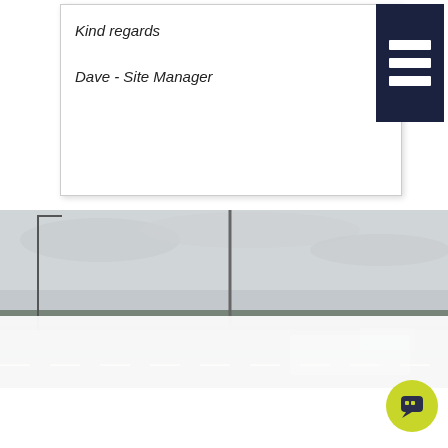Kind regards

Dave - Site Manager
[Figure (photo): Outdoor road/highway scene with grey overcast sky, street lights/poles visible, some trees in background]
THIS WEBSITE USES COOKIES
We use cookies to personalise content and ads, to provide social media features and to analyse our traffic. We also share information about your use of our site with our social media, advertising and analytics partners who may combine it with other information that you've provided to them or that they've collected from your use of their services. You consent to our cookies if you continue to use our website.
OK
Settings